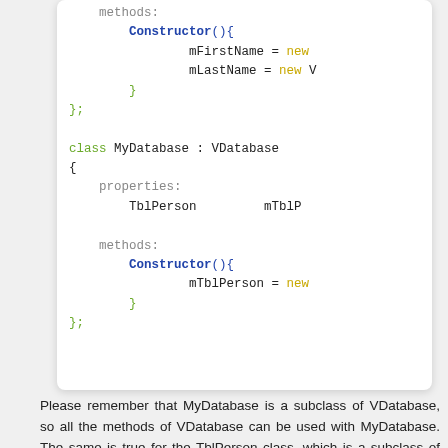[Figure (screenshot): Code block showing class definitions with methods, properties, Constructor, mFirstName, mLastName, class MyDatabase : VDatabase, TblPerson, mTblPerson, in a white rounded box with syntax highlighting]
Please remember that MyDatabase is a subclass of VDatabase, so all the methods of VDatabase can be used with MyDatabase. The same is true for the TblPerson class, which is a subclass of VTable.
We have made a big step forward! Now we